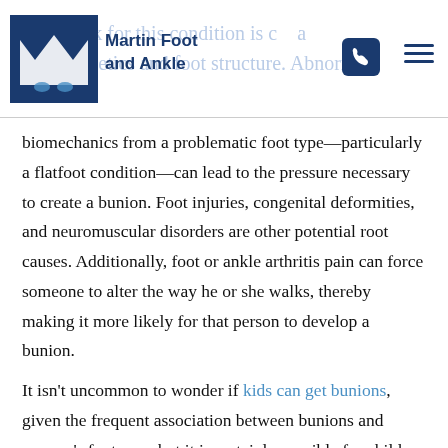Martin Foot and Ankle
biomechanics from a problematic foot type—particularly a flatfoot condition—can lead to the pressure necessary to create a bunion. Foot injuries, congenital deformities, and neuromuscular disorders are other potential root causes. Additionally, foot or ankle arthritis pain can force someone to alter the way he or she walks, thereby making it more likely for that person to develop a bunion.
It isn't uncommon to wonder if kids can get bunions, given the frequent association between bunions and women's footwear, but it is certainly possible for children to develop them. Early intervention and treatment are best in these cases (so as to prevent bigger problems later